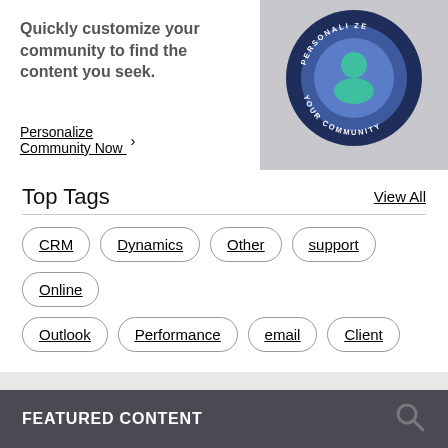Quickly customize your community to find the content you seek.
Personalize Community Now →
[Figure (logo): Circular badge with dark blue border, lighter blue circles inside, a teal person icon in the center, yellow stars, and text reading 'PERSONALIZE YOUR COMMUNITY']
Top Tags
View All
CRM
Dynamics
Other
support
Online
Outlook
Performance
email
Client
FEATURED CONTENT